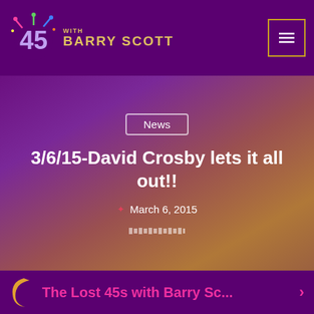WITH BARRY SCOTT — navigation header with logo and menu button
News
3/6/15-David Crosby lets it all out!!
March 6, 2015
[Figure (photo): Partial photo of a person with white/grey hair visible at the bottom of the hero section]
The Lost 45s with Barry Sc...